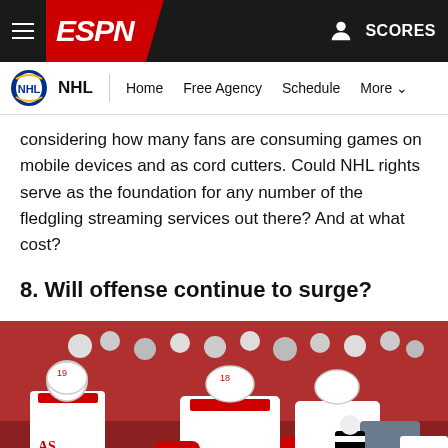ESPN - NHL | Home | Free Agency | Schedule | More | SCORES
considering how many fans are consuming games on mobile devices and as cord cutters. Could NHL rights serve as the foundation for any number of the fledgling streaming services out there? And at what cost?
8. Will offense continue to surge?
[Figure (photo): Carolina Hurricanes players in white jerseys celebrating on ice, player #18 DZINGEL featured prominently, surrounded by teammates hugging, crowd visible in background]